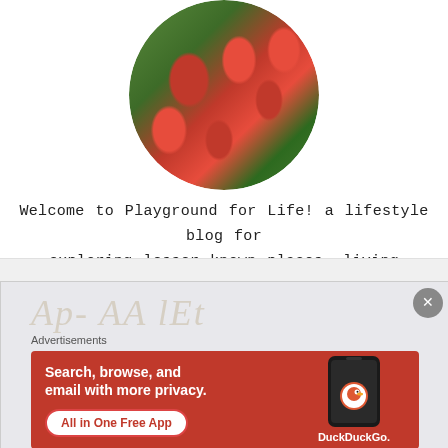[Figure (photo): Circular cropped photo of a person wearing a cherry-patterned dress against a green background, showing from shoulders up]
Welcome to Playground for Life! a lifestyle blog for exploring lesser known places, living sustainably and discovering amazing social businesses and artisans from around the world.
[Figure (screenshot): DuckDuckGo advertisement banner on orange-red background showing a smartphone with the DuckDuckGo app. Text reads: Search, browse, and email with more privacy. All in One Free App. DuckDuckGo logo at bottom right.]
Advertisements